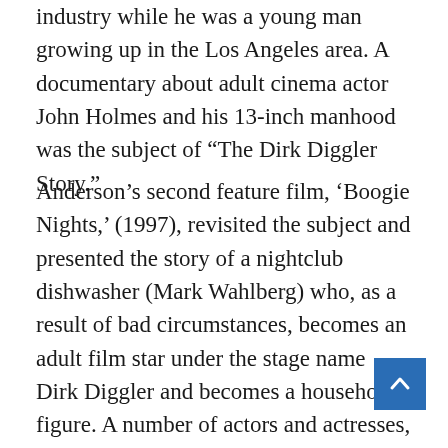industry while he was a young man growing up in the Los Angeles area. A documentary about adult cinema actor John Holmes and his 13-inch manhood was the subject of “The Dirk Diggler Story.”
Anderson’s second feature film, ‘Boogie Nights,’ (1997), revisited the subject and presented the story of a nightclub dishwasher (Mark Wahlberg) who, as a result of bad circumstances, becomes an adult film star under the stage name Dirk Diggler and becomes a household figure. A number of actors and actresses, including Wahlberg and Julianne Moore, as well as Anderson, were launched into their respective careers as a result of the film’s initial four nights...